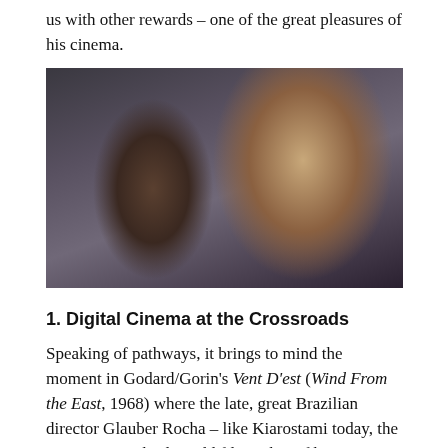us with other rewards – one of the great pleasures of his cinema.
[Figure (photo): Two people seated in a car interior. A woman wearing a white hijab and sunglasses is in the foreground on the right. An older man with glasses is visible behind her on the left. A patterned bag is visible in the lower foreground.]
1. Digital Cinema at the Crossroads
Speaking of pathways, it brings to mind the moment in Godard/Gorin's Vent D'est (Wind From the East, 1968) where the late, great Brazilian director Glauber Rocha – like Kiarostami today, the pre-eminent Third World filmmaker of his generation – stands at a forked path and speaks about the two directions open to the cinema at that particular historical juncture: "That way is the cinema of aesthetic adventure and